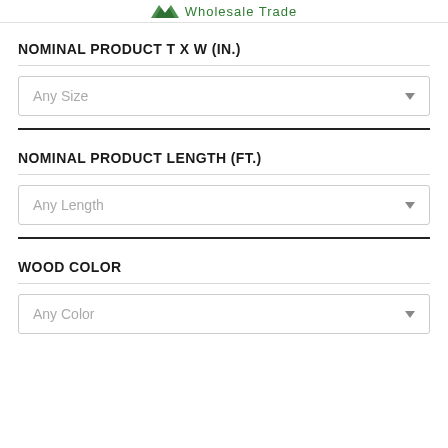Wholesale Trade
NOMINAL PRODUCT T X W (IN.)
Any Size
NOMINAL PRODUCT LENGTH (FT.)
Any Length
WOOD COLOR
Any Color